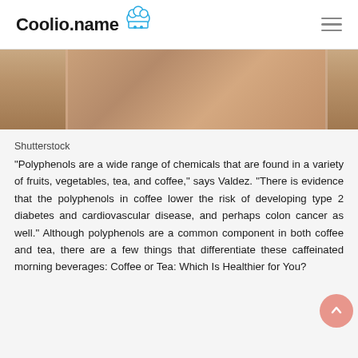Coolio.name
[Figure (photo): Cropped photo of a person, showing neck and lower face area with a dark blue top, light background — appears to be a stock photo.]
Shutterstock
"Polyphenols are a wide range of chemicals that are found in a variety of fruits, vegetables, tea, and coffee," says Valdez. "There is evidence that the polyphenols in coffee lower the risk of developing type 2 diabetes and cardiovascular disease, and perhaps colon cancer as well." Although polyphenols are a common component in both coffee and tea, there are a few things that differentiate these caffeinated morning beverages: Coffee or Tea: Which Is Healthier for You?